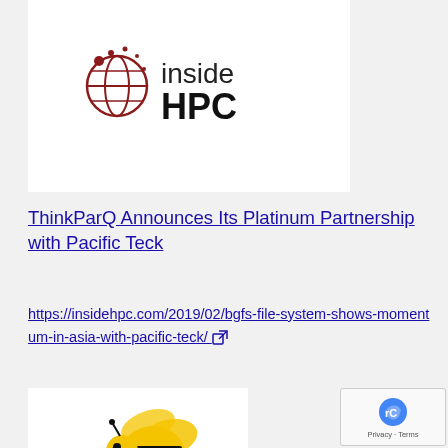[Figure (logo): inside HPC logo — red globe-like icon with dots on the left, text 'inside HPC' on the right in black, bold HPC]
ThinkParQ Announces Its Platinum Partnership with Pacific Teck
https://insidehpc.com/2019/02/bgfs-file-system-shows-momentum-in-asia-with-pacific-teck/
[Figure (logo): BeeGFS logo — cartoon bee icon above yellow-and-black 'BeeGFS' wordmark with registered trademark symbol]
Learn More about BeeGFS ▶
[Figure (other): reCAPTCHA Privacy - Terms badge in bottom right corner]